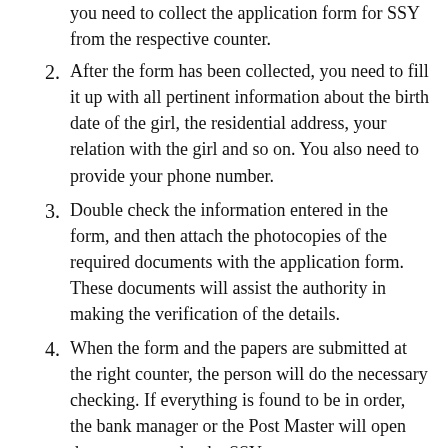(clipped top) you need to collect the application form for SSY from the respective counter.
2. After the form has been collected, you need to fill it up with all pertinent information about the birth date of the girl, the residential address, your relation with the girl and so on. You also need to provide your phone number.
3. Double check the information entered in the form, and then attach the photocopies of the required documents with the application form. These documents will assist the authority in making the verification of the details.
4. When the form and the papers are submitted at the right counter, the person will do the necessary checking. If everything is found to be in order, the bank manager or the Post Master will open the account under the SSY.